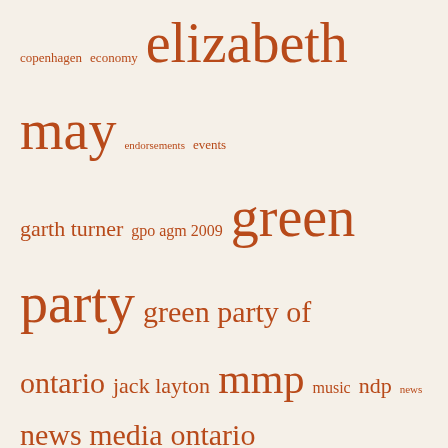copenhagen economy elizabeth may endorsements events garth turner gpo agm 2009 green party green party of ontario jack layton mmp music ndp news news media ontario provincial election 2007 policy conference polls press releases price on carbon rob ford spp stephen harper steve paikin toronto toronto centre torontoist tvo video videos voting reform ward 27
Recent Comments
Ray Tomalty on The state of the Green Party of Canada
vinod goomar on Remembering Rob Ford
Sasha-Rose on Remembering Rob Ford
Matt Potter on Remembering Rob Ford